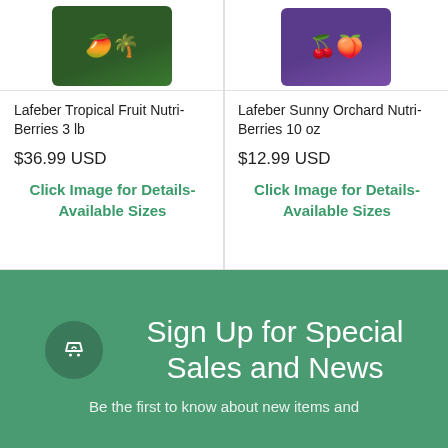[Figure (photo): Product image of Lafeber Tropical Fruit Nutri-Berries 3 lb - dark green bag with tropical fruit imagery]
[Figure (photo): Product image of Lafeber Sunny Orchard Nutri-Berries 10 oz - purple bag with orchard fruit imagery]
Lafeber Tropical Fruit Nutri-Berries 3 lb
$36.99 USD
Click Image for Details- Available Sizes
Lafeber Sunny Orchard Nutri-Berries 10 oz
$12.99 USD
Click Image for Details- Available Sizes
Sign Up for Special Sales and News
Be the first to know about new items and